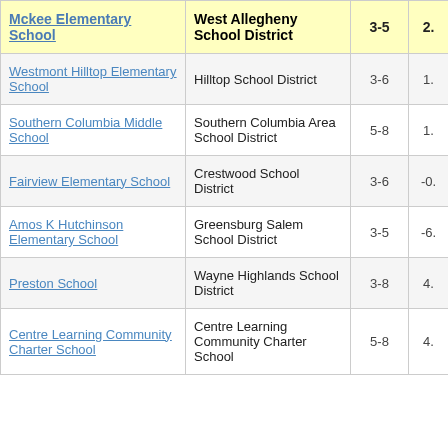| Mckee Elementary School | West Allegheny School District | 3-5 | 2. |
| --- | --- | --- | --- |
| Westmont Hilltop Elementary School | Hilltop School District | 3-6 | 1. |
| Southern Columbia Middle School | Southern Columbia Area School District | 5-8 | 1. |
| Fairview Elementary School | Crestwood School District | 3-6 | -0. |
| Amos K Hutchinson Elementary School | Greensburg Salem School District | 3-5 | -6. |
| Preston School | Wayne Highlands School District | 3-8 | 4. |
| Centre Learning Community Charter School | Centre Learning Community Charter School | 5-8 | 4. |